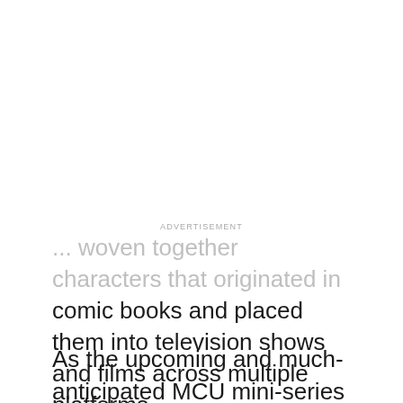ADVERTISEMENT
... woven together characters that originated in comic books and placed them into television shows and films across multiple platforms.
As the upcoming and much-anticipated MCU mini-series WandaVision will be premiering soon, eagle-eyed fans can expect to see some subtle nods to other characters and situations from the franchise. What they might not be expecting, however, is a small homage to Full House.